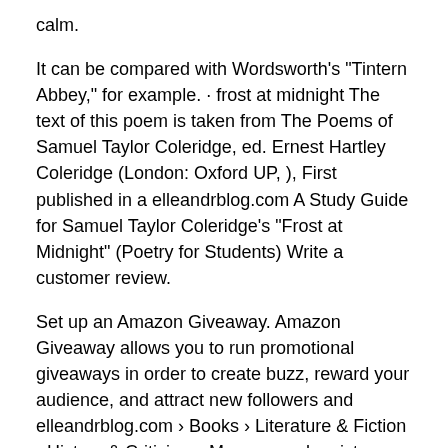calm.
It can be compared with Wordsworth's "Tintern Abbey," for example. · frost at midnight The text of this poem is taken from The Poems of Samuel Taylor Coleridge, ed. Ernest Hartley Coleridge (London: Oxford UP, ), First published in a elleandrblog.com A Study Guide for Samuel Taylor Coleridge's "Frost at Midnight" (Poetry for Students) Write a customer review.
Set up an Amazon Giveaway. Amazon Giveaway allows you to run promotional giveaways in order to create buzz, reward your audience, and attract new followers and elleandrblog.com › Books › Literature & Fiction › History & Criticism.  My eyes make pictures, when they are shut:    I see a fountain, large and fair,  A willow and a ruined hut,elleandrblog.com A Study Guide for Samuel Taylor Coleridge's Frost at Midnight [Cengage Learning Gale] on elleandrblog.com *FREE* shipping on qualifying offers.
A Study Guide for Samuel Taylor Coleridge's Frost at